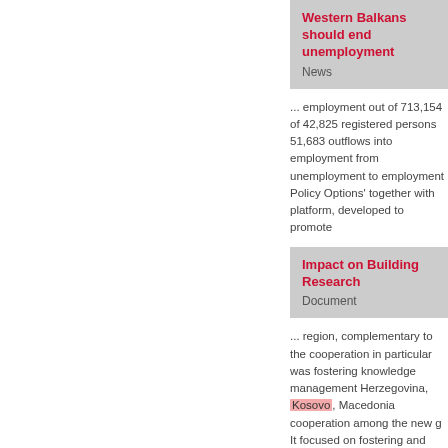Western Balkans should end unemployment
News
... employment out of 713,154 of 42,825 registered persons 51,683 outflows into employment from unemployment to employment Policy Options' together with platform, developed to promote
Impact on Building Research
Document
... region, complementary to the cooperation in particular was fostering knowledge management Herzegovina, Kosovo, Macedonia cooperation among the new g It focused on fostering and promoting in the respective countries. Its
Technology Transfer Capacity
Project